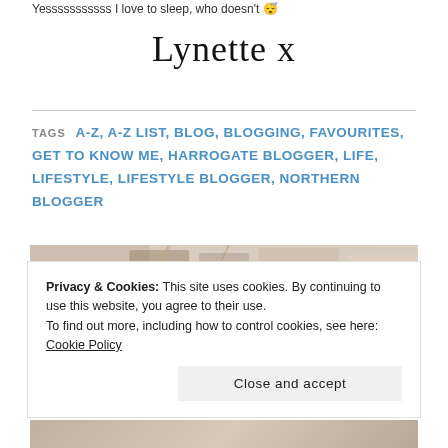Yesssssssssss I love to sleep, who doesn't 😴
Lynette x
TAGS  A-Z, A-Z LIST, BLOG, BLOGGING, FAVOURITES, GET TO KNOW ME, HARROGATE BLOGGER, LIFE, LIFESTYLE, LIFESTYLE BLOGGER, NORTHERN BLOGGER
[Figure (photo): Partial photo strip visible behind cookie banner, showing books and decorative items]
Privacy & Cookies: This site uses cookies. By continuing to use this website, you agree to their use.
To find out more, including how to control cookies, see here: Cookie Policy
Close and accept
[Figure (photo): Bottom strip of a photo showing books and accessories]